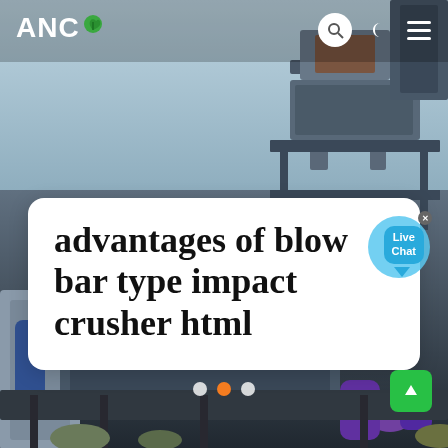[Figure (photo): Industrial mining/crushing machinery with steel frame structures, conveyor belts, and purple pipes against a light blue sky background. Heavy equipment plant scene.]
ANC
advantages of blow bar type impact crusher html
Live Chat